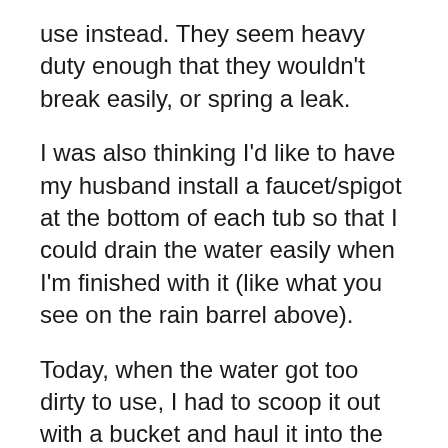use instead. They seem heavy duty enough that they wouldn't break easily, or spring a leak.
I was also thinking I'd like to have my husband install a faucet/spigot at the bottom of each tub so that I could drain the water easily when I'm finished with it (like what you see on the rain barrel above).
Today, when the water got too dirty to use, I had to scoop it out with a bucket and haul it into the woods to empty. The wash tubs were much too heavy to lift and carry to a good place to be dumped out.